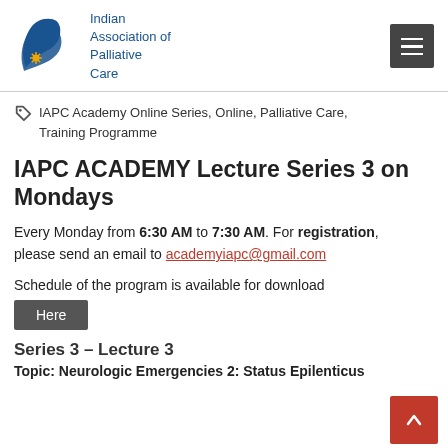[Figure (logo): Indian Association of Palliative Care logo with blue bird/hand symbol and text]
IAPC Academy Online Series, Online, Palliative Care, Training Programme
IAPC ACADEMY Lecture Series 3 on Mondays
Every Monday from 6:30 AM to 7:30 AM. For registration, please send an email to academyiapc@gmail.com
Schedule of the program is available for download
Here
Series 3 – Lecture 3
Topic: Neurologic Emergencies 2: Status Epilenticus